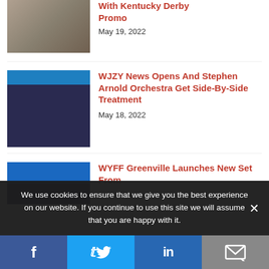[Figure (photo): Partial thumbnail of people walking, top of article cut off]
With Kentucky Derby Promo
May 19, 2022
[Figure (photo): Thumbnail showing news studio with blue background and people]
WJZY News Opens And Stephen Arnold Orchestra Get Side-By-Side Treatment
May 18, 2022
[Figure (photo): Thumbnail showing WYFF Greenville news set with blue studio lighting]
WYFF Greenville Launches New Set From
We use cookies to ensure that we give you the best experience on our website. If you continue to use this site we will assume that you are happy with it.